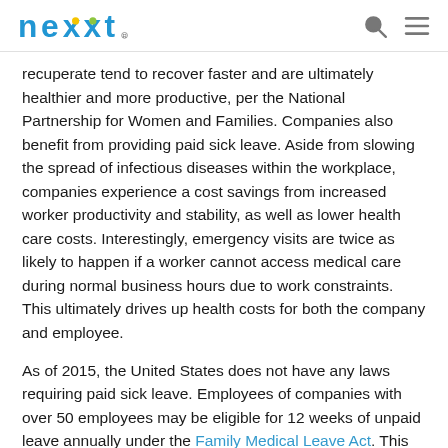nexxt
recuperate tend to recover faster and are ultimately healthier and more productive, per the National Partnership for Women and Families. Companies also benefit from providing paid sick leave. Aside from slowing the spread of infectious diseases within the workplace, companies experience a cost savings from increased worker productivity and stability, as well as lower health care costs. Interestingly, emergency visits are twice as likely to happen if a worker cannot access medical care during normal business hours due to work constraints. This ultimately drives up health costs for both the company and employee.
As of 2015, the United States does not have any laws requiring paid sick leave. Employees of companies with over 50 employees may be eligible for 12 weeks of unpaid leave annually under the Family Medical Leave Act. This benefit is limited to larger workplaces and covers maternity, adoption, care of a sick family member or a serious health condition of the employee. Legislators have been working hard since 2005 to enact broader legislation, creating paid...